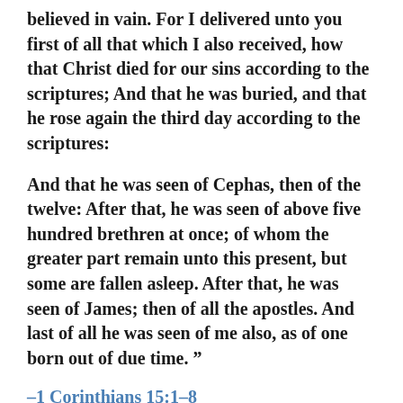believed in vain. For I delivered unto you first of all that which I also received, how that Christ died for our sins according to the scriptures; And that he was buried, and that he rose again the third day according to the scriptures:
And that he was seen of Cephas, then of the twelve: After that, he was seen of above five hundred brethren at once; of whom the greater part remain unto this present, but some are fallen asleep. After that, he was seen of James; then of all the apostles. And last of all he was seen of me also, as of one born out of due time. ”
–1 Corinthians 15:1–8